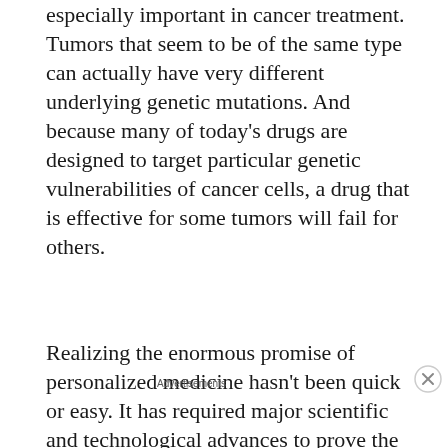especially important in cancer treatment. Tumors that seem to be of the same type can actually have very different underlying genetic mutations. And because many of today's drugs are designed to target particular genetic vulnerabilities of cancer cells, a drug that is effective for some tumors will fail for others.
Realizing the enormous promise of personalized medicine hasn't been quick or easy. It has required major scientific and technological advances to prove the links between genetic variations and diseases, and to then actually determine the costs of identifying...
[Figure (other): Advertisement banner: dark navy background with a circular white icon showing a person/tree silhouette, teal text 'Launch your online course with WordPress', and a white 'Learn More' button.]